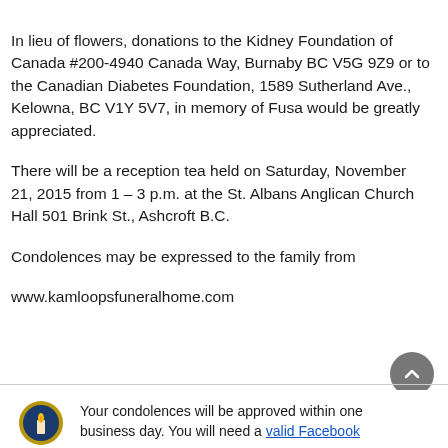In lieu of flowers, donations to the Kidney Foundation of Canada #200-4940 Canada Way, Burnaby BC V5G 9Z9 or to the Canadian Diabetes Foundation, 1589 Sutherland Ave., Kelowna, BC V1Y 5V7, in memory of Fusa would be greatly appreciated.
There will be a reception tea held on Saturday, November 21, 2015 from 1 – 3 p.m. at the St. Albans Anglican Church Hall 501 Brink St., Ashcroft B.C.
Condolences may be expressed to the family from
www.kamloopsfuneralhome.com
Your condolences will be approved within one business day. You will need a valid Facebook